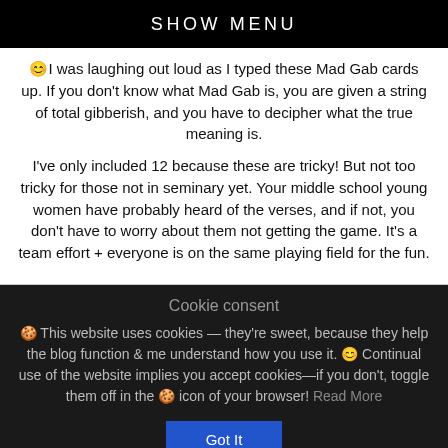SHOW MENU
😊I was laughing out loud as I typed these Mad Gab cards up. If you don't know what Mad Gab is, you are given a string of total gibberish, and you have to decipher what the true meaning is.
I've only included 12 because these are tricky! But not too tricky for those not in seminary yet. Your middle school young women have probably heard of the verses, and if not, you don't have to worry about them not getting the game. It's a team effort + everyone is on the same playing field for the fun.
Cookie consent
🍪 This website uses cookies — they're sweet, because they help the blog function & me understand how you use it. 😊 Continual use of the website implies you accept cookies—if you don't, toggle them off in the 🍪 icon of your browser! Read More
Got It